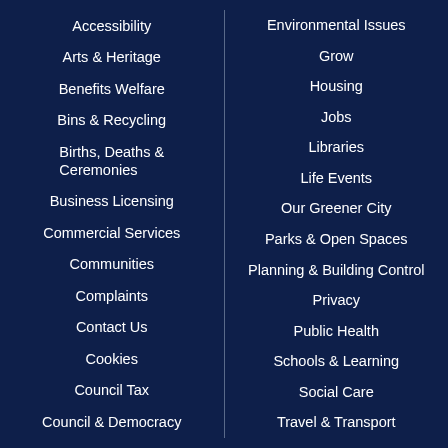Accessibility
Arts & Heritage
Benefits Welfare
Bins & Recycling
Births, Deaths & Ceremonies
Business Licensing
Commercial Services
Communities
Complaints
Contact Us
Cookies
Council Tax
Council & Democracy
Environmental Issues
Grow
Housing
Jobs
Libraries
Life Events
Our Greener City
Parks & Open Spaces
Planning & Building Control
Privacy
Public Health
Schools & Learning
Social Care
Travel & Transport